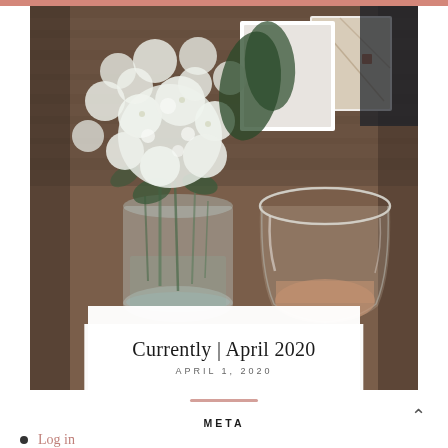[Figure (photo): Lifestyle blog photo showing white hydrangea flowers in a glass mason jar and a stemless wine glass with rosé on a wooden table, with framed art in the background]
Currently | April 2020
APRIL 1, 2020
META
Log in